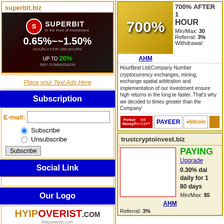[Figure (screenshot): Superbit.biz advertisement banner with 0.65%~1.50% hourly for 168 hours and up to 20% ref commission]
superbit.biz
Place your Text Ads Here
Subscription
E-mail:
Subscribe
Unsubscribe
Social Link
Our Logo
[Figure (logo): HYIPOVERIST.COM logo]
700% AFTER 1 HOUR Min/Max: 30 Referral: 3% Withdrawal:
AHM
HourBest Ltd(Company Number cryptocurrency exchanges, mining, exchange spatial arbitration and implementation of our investment ensure high returns in the long term faster. That's why we decided to times greater than the Company's
trustcryptoinvest.biz
PAYING
Upgrade
0.30% daily for 1 80 days
Min/Max: $5
AHM
Referral: 3%